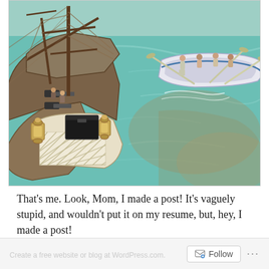[Figure (photo): A close-up photo of a detailed model/diorama scene showing a tall ship (pirate-style vessel) on the left with masts, rigging, cannons, and ornate stern decorations including lanterns and lattice railing. On the right, a white rowing boat with several figurines of people rowing across turquoise-green water. The scene appears to be a painted or sculpted maritime diorama.]
That’s me. Look, Mom, I made a post! It’s vaguely stupid, and wouldn’t put it on my resume, but, hey, I made a post!
Follow ...